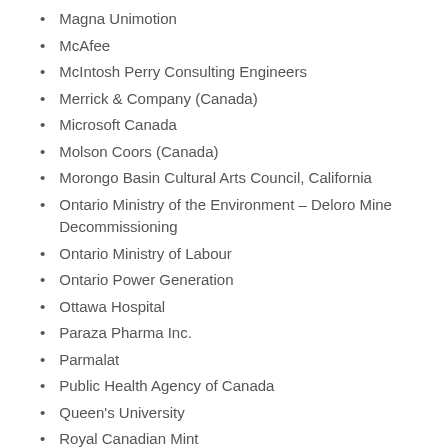Magna Unimotion
McAfee
McIntosh Perry Consulting Engineers
Merrick & Company (Canada)
Microsoft Canada
Molson Coors (Canada)
Morongo Basin Cultural Arts Council, California
Ontario Ministry of the Environment – Deloro Mine Decommissioning
Ontario Ministry of Labour
Ontario Power Generation
Ottawa Hospital
Paraza Pharma Inc.
Parmalat
Public Health Agency of Canada
Queen's University
Royal Canadian Mint
RPR Environmental